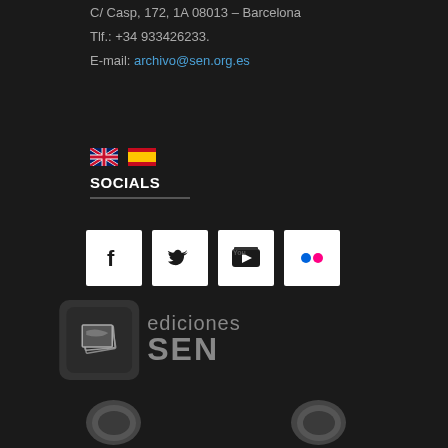C/ Casp, 172, 1A 08013 – Barcelona
Tlf.: +34 933426233.
E-mail: archivo@sen.org.es
[Figure (illustration): UK flag and Spanish flag icons side by side]
SOCIALS
[Figure (infographic): Social media icons for Facebook, Twitter, YouTube, and Flickr in white square boxes]
[Figure (logo): Ediciones SEN logo with a rounded square icon showing stacked pages and text 'ediciones SEN']
[Figure (logo): Two circular logos partially visible at bottom of page]